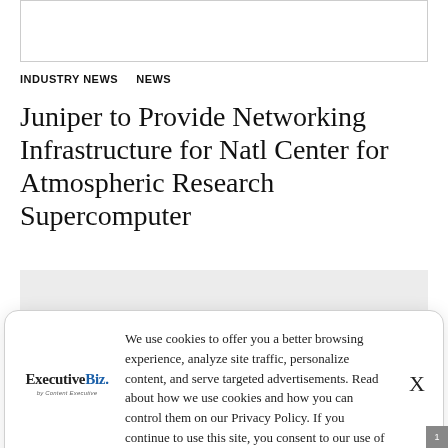[Figure (other): White rectangular box outline at top of page, placeholder image area]
INDUSTRY NEWS    NEWS
Juniper to Provide Networking Infrastructure for Natl Center for Atmospheric Research Supercomputer
[Figure (other): Gray rectangular placeholder box below title]
We use cookies to offer you a better browsing experience, analyze site traffic, personalize content, and serve targeted advertisements. Read about how we use cookies and how you can control them on our Privacy Policy. If you continue to use this site, you consent to our use of cookies.
[Figure (logo): ExecutiveBiz logo with tagline 'by Content Executive']